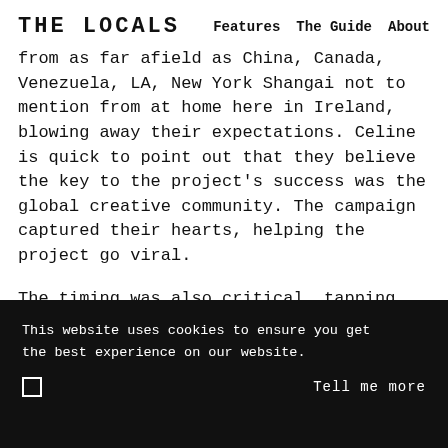THE LOCALS  |  Features  The Guide  About
from as far afield as China, Canada, Venezuela, LA, New York Shangai not to mention from at home here in Ireland, blowing away their expectations. Celine is quick to point out that they believe the key to the project's success was the global creative community. The campaign captured their hearts, helping the project go viral.
The timing was also critical, tapping into a globally held sense of frustration amongst creative communities, who were looking for a way to come together whilst being told to stay apart.
This website uses cookies to ensure you get the best experience on our website.

☐   Tell me more